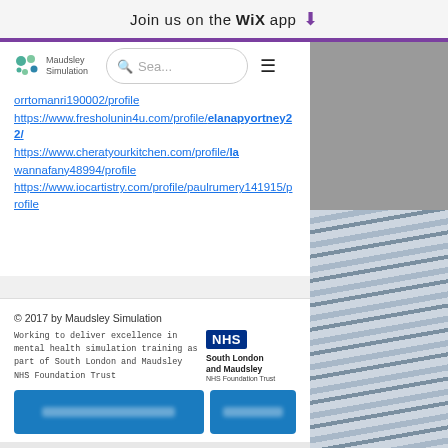Join us on the WiX app ⬇
[Figure (logo): Maudsley Simulation logo with colored dots]
https://www.fresholunin4u.com/profile/elanapyortney22/... https://www.cheratyourkitchen.com/profile/lawannafany48994/profile https://www.iocartistry.com/profile/paulrumery141915/profile
© 2017 by Maudsley Simulation
Working to deliver excellence in mental health simulation training as part of South London and Maudsley NHS Foundation Trust
[Figure (logo): NHS South London and Maudsley NHS Foundation Trust logo]
[Figure (screenshot): Two blurred blue buttons at bottom of page]